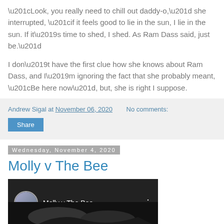“Look, you really need to chill out daddy-o,” she interrupted, “if it feels good to lie in the sun, I lie in the sun. If it’s time to shed, I shed. As Ram Dass said, just be.”
I don’t have the first clue how she knows about Ram Dass, and I’m ignoring the fact that she probably meant, “Be here now”, but, she is right I suppose.
Andrew Sigal at November 06, 2020    No comments:
Share
Wednesday, November 4, 2020
Molly v The Bee
[Figure (screenshot): Video thumbnail showing 'Molly v The Bee' with a circular avatar photo of a person and dark background with animal imagery]